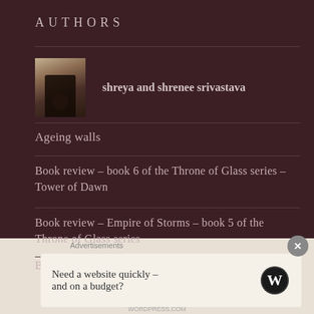AUTHORS
[Figure (photo): Author profile photo of shreya and shrenee srivastava]
shreya and shrenee srivastava
Ageing walls
Book review – book 6 of the Throne of Glass series – Tower of Dawn
Book review – Empire of Storms – book 5 of the Throne of Glass series
Book review – Winter's Heart – book 9 of the Wheel
Advertisements
Need a website quickly – and on a budget?